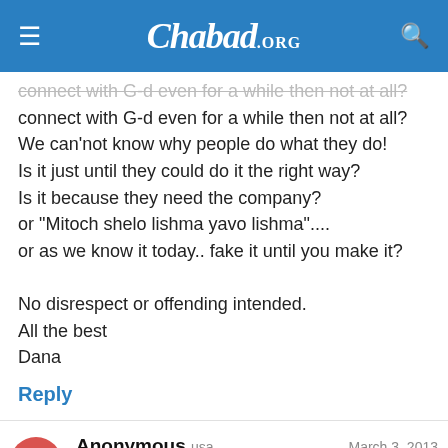Chabad.ORG
connect with G-d even for a while then not at all?
We can'not know why people do what they do!
Is it just until they could do it the right way?
Is it because they need the company?
or "Mitoch shelo lishma yavo lishma"....
or as we know it today.. fake it until you make it?

No disrespect or offending intended.
All the best
Dana
Reply
Anonymous  usa   March 3, 2013
Thank you Sarah for doing the work that you do, for and in or with such a rich...